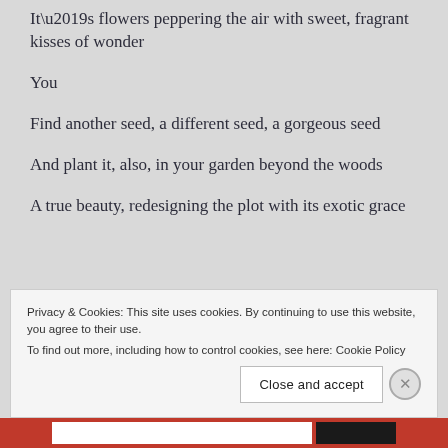It’s flowers peppering the air with sweet, fragrant kisses of wonder
You
Find another seed, a different seed, a gorgeous seed
And plant it, also, in your garden beyond the woods
A true beauty, redesigning the plot with its exotic grace
Privacy & Cookies: This site uses cookies. By continuing to use this website, you agree to their use. To find out more, including how to control cookies, see here: Cookie Policy
Close and accept